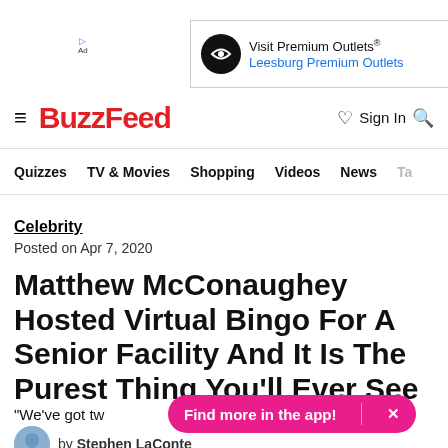[Figure (screenshot): Advertisement banner for Visit Premium Outlets / Leesburg Premium Outlets with black circular logo and blue arrow sign]
BuzzFeed — Sign In — Quizzes, TV & Movies, Shopping, Videos, News
Celebrity
Posted on Apr 7, 2020
Matthew McConaughey Hosted Virtual Bingo For A Senior Facility And It Is The Purest Thing You'll Ever See
"We've got tw
Find more in the app!
by Stephen LaConte